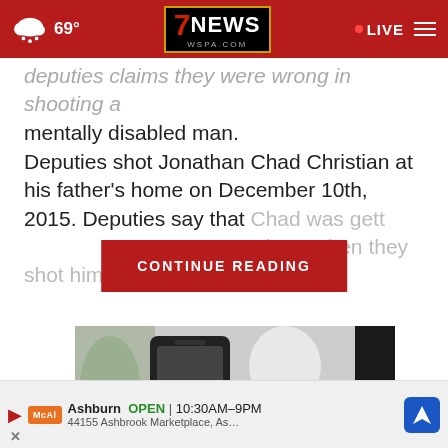7NEWS WSPA.COM — 69° — LIVE
deputies claims they were wrong in shooting a mentally disabled man.
Deputies shot Jonathan Chad Christian at his father's home on December 10th, 2015. Deputies say that Chad was gett[ing…] at them when they shot him[…]
CONTINUE READING
[Figure (photo): Photo showing a smartphone and a light bulb product]
Ashburn  OPEN  10:30AM–9PM  44155 Ashbrook Marketplace, As…